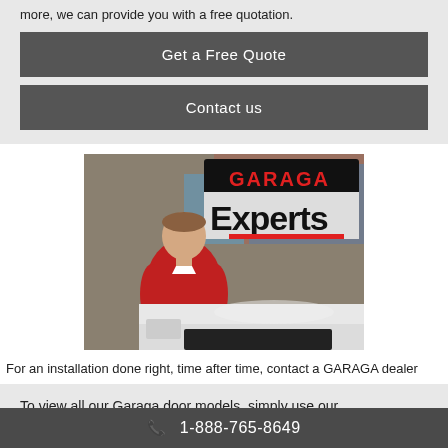more, we can provide you with a free quotation.
Get a Free Quote
Contact us
[Figure (photo): Photo of a man in a red polo shirt standing in front of a white truck and a storefront sign reading GARAGA Experts with a red underline bar.]
For an installation done right, time after time, contact a GARAGA dealer
To view all our Garaga door models, simply use our Design Centre. This
📞 1-888-765-8649